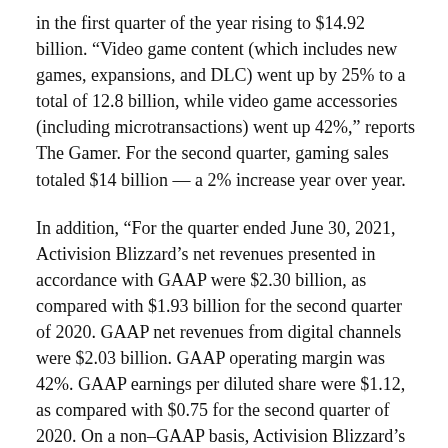in the first quarter of the year rising to $14.92 billion. “Video game content (which includes new games, expansions, and DLC) went up by 25% to a total of 12.8 billion, while video game accessories (including microtransactions) went up 42%,” reports The Gamer. For the second quarter, gaming sales totaled $14 billion — a 2% increase year over year.
In addition, “For the quarter ended June 30, 2021, Activision Blizzard’s net revenues presented in accordance with GAAP were $2.30 billion, as compared with $1.93 billion for the second quarter of 2020. GAAP net revenues from digital channels were $2.03 billion. GAAP operating margin was 42%. GAAP earnings per diluted share were $1.12, as compared with $0.75 for the second quarter of 2020. On a non-GAAP basis, Activision Blizzard’s operating margin was 44% and earnings per